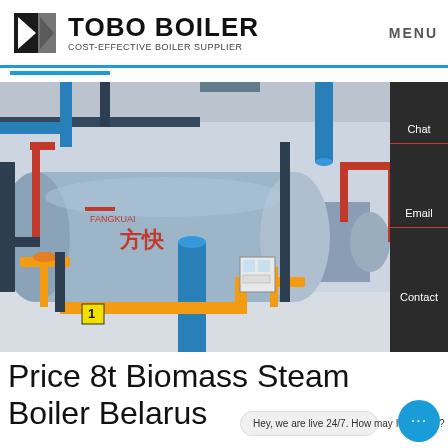TOBO BOILER COST-EFFECTIVE BOILER SUPPLIER
[Figure (photo): Industrial biomass steam boilers in a factory setting. Large cylindrical gray boilers with blue, red, and yellow pipes. Chinese text visible on boiler: 方快. Yellow valves and piping in foreground. Number 1 label visible on foreground pipe.]
Price 8t Biomass Steam Boiler Belarus
Hey, we are live 24/7. How may I help you?